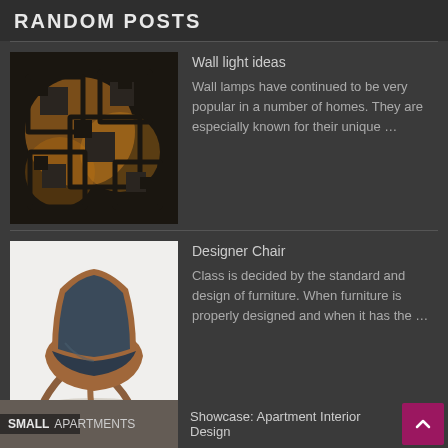RANDOM POSTS
[Figure (photo): Wall light fixture with geometric black square frames and warm glowing backlights arranged in a decorative pattern on a dark wall]
Wall light ideas
Wall lamps have continued to be very popular in a number of homes. They are especially known for their unique …
[Figure (photo): Modern designer shell chair with dark blue/grey upholstery and natural wood curved legs on a white background]
Designer Chair
Class is decided by the standard and design of furniture. When furniture is properly designed and when it has the …
Showcase: Apartment Interior Design
SMALL APARTMENTS